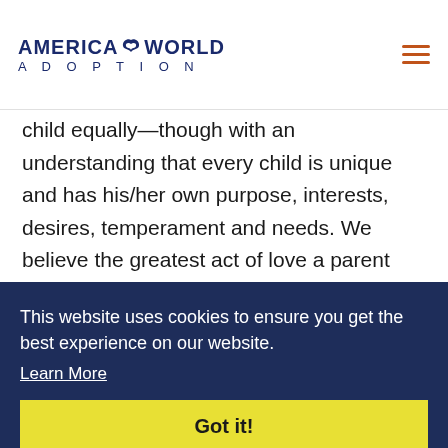America World Adoption
child equally—though with an understanding that every child is unique and has his/her own purpose, interests, desires, temperament and needs. We believe the greatest act of love a parent can show a child is to properly teach and train
This website uses cookies to ensure you get the best experience on our website. Learn More Got it!
procreating, but it requires one thing that